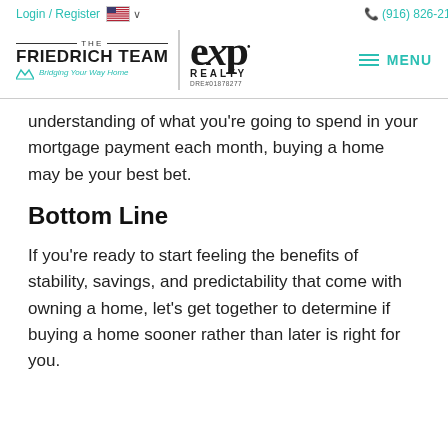Login / Register  🇺🇸 ∨   (916) 826-2169
THE FRIEDRICH TEAM | eXp REALTY DRE#01878277   MENU
understanding of what you're going to spend in your mortgage payment each month, buying a home may be your best bet.
Bottom Line
If you're ready to start feeling the benefits of stability, savings, and predictability that come with owning a home, let's get together to determine if buying a home sooner rather than later is right for you.